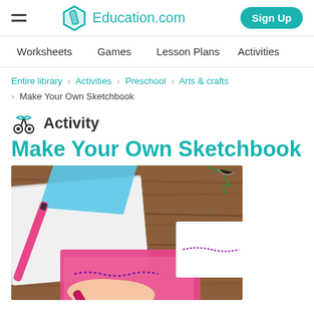Education.com — Sign Up
Worksheets   Games   Lesson Plans   Activities
Entire library > Activities > Preschool > Arts & crafts > Make Your Own Sketchbook
Activity
Make Your Own Sketchbook
[Figure (photo): Hands working on a DIY sketchbook on a wooden table, with pink paper, white paper pages, and a pink pen visible]